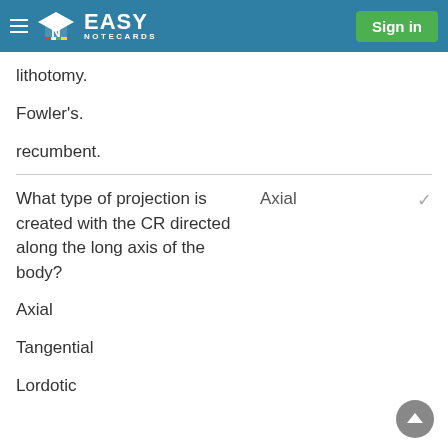Easy Notecards — Sign in
lithotomy.
Fowler's.
recumbent.
What type of projection is created with the CR directed along the long axis of the body?
Axial
Axial
Tangential
Lordotic